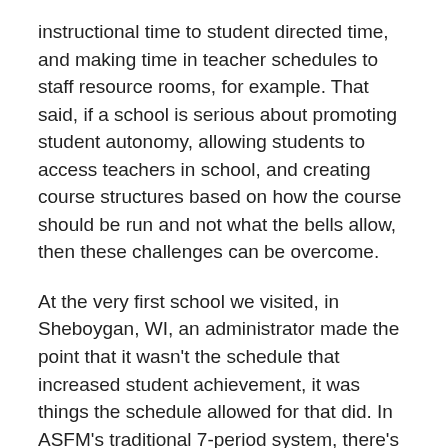instructional time to student directed time, and making time in teacher schedules to staff resource rooms, for example. That said, if a school is serious about promoting student autonomy, allowing students to access teachers in school, and creating course structures based on how the course should be run and not what the bells allow, then these challenges can be overcome.
At the very first school we visited, in Sheboygan, WI, an administrator made the point that it wasn't the schedule that increased student achievement, it was things the schedule allowed for that did. In ASFM's traditional 7-period system, there's little time in the school day for interventions or other deviation from the set curriculum; flex-mod could fix that.